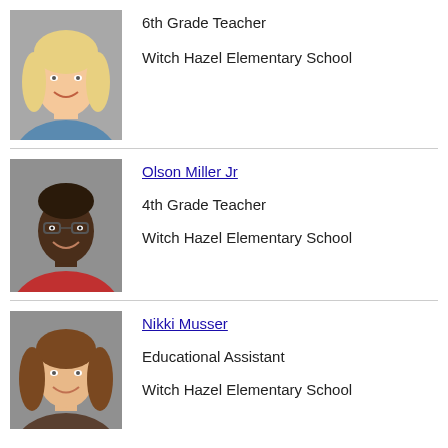[Figure (photo): Photo of a blonde female teacher smiling, school portrait style]
6th Grade Teacher
Witch Hazel Elementary School
[Figure (photo): Photo of Olson Miller Jr, a Black man wearing glasses and a red shirt, smiling]
Olson Miller Jr
4th Grade Teacher
Witch Hazel Elementary School
[Figure (photo): Photo of Nikki Musser, a woman with long brown hair, smiling, school portrait style]
Nikki Musser
Educational Assistant
Witch Hazel Elementary School